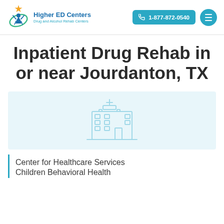Higher ED Centers | Drug and Alcohol Rehab Centers | 1-877-872-0540
Inpatient Drug Rehab in or near Jourdanton, TX
[Figure (illustration): Light blue background card with a medical/hospital building icon in outline style, light blue color]
Center for Healthcare Services Children Behavioral Health